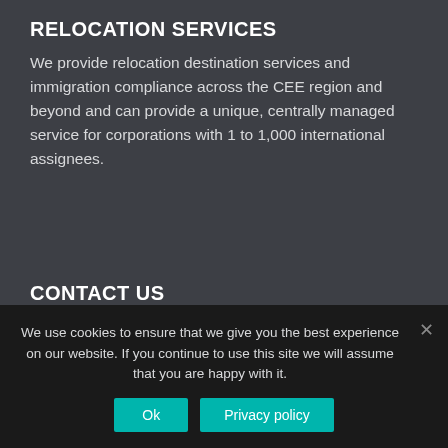RELOCATION SERVICES
We provide relocation destination services and immigration compliance across the CEE region and beyond and can provide a unique, centrally managed service for corporations with 1 to 1,000 international assignees.
CONTACT US
Headquarters
We use cookies to ensure that we give you the best experience on our website. If you continue to use this site we will assume that you are happy with it.